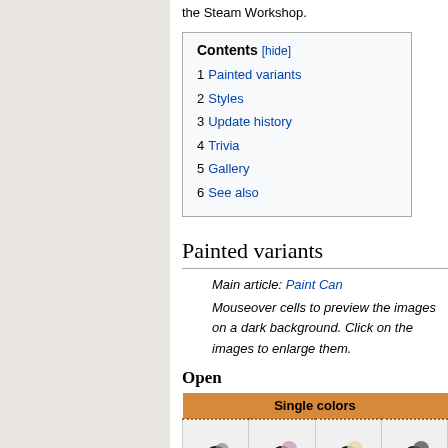the Steam Workshop.
1 Painted variants
2 Styles
3 Update history
4 Trivia
5 Gallery
6 See also
Painted variants
Main article: Paint Can
Mouseover cells to preview the images on a dark background. Click on the images to enlarge them.
Open
| Single colors |
| --- |
|  |  |  |  |